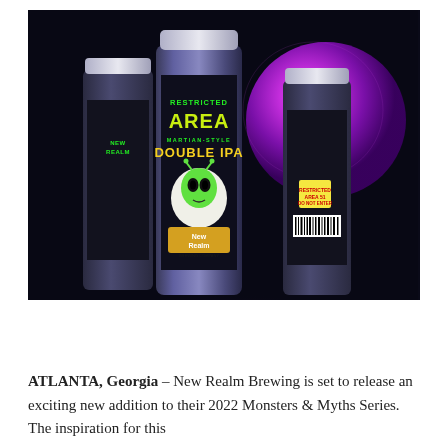[Figure (photo): Three cans of New Realm Brewing Company 'Restricted Area Martian-Style Double IPA' beer arranged on a dark surface with a bright purple/magenta glowing orb in the background and purple floor lighting.]
ATLANTA, Georgia – New Realm Brewing is set to release an exciting new addition to their 2022 Monsters & Myths Series. The inspiration for this